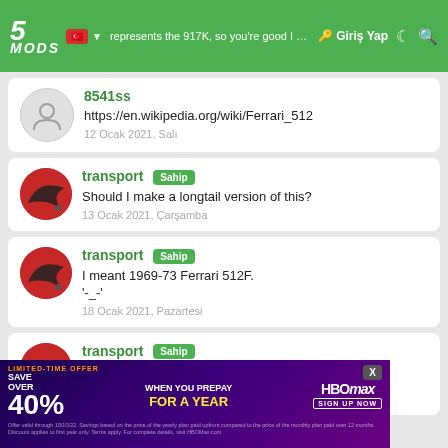5MODS — Giriş Yap
@trs5405: it does, but search 1970 Ferrari 512M: it represents the 917K, so you're good I think
https://en.wikipedia.org/wiki/Ferrari_512
Should I make a longtail version of this?
I meant 1969-73 Ferrari 512F.
'-_-'
(partial — obscured by ad)... because
[Figure (screenshot): HBO Max advertisement overlay: SAVE OVER 40% WHEN YOU PREPAY FOR A YEAR with fine print and sign up now button]